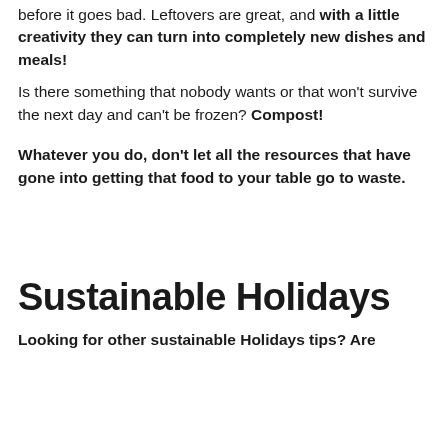before it goes bad. Leftovers are great, and with a little creativity they can turn into completely new dishes and meals!
Is there something that nobody wants or that won't survive the next day and can't be frozen? Compost!
Whatever you do, don't let all the resources that have gone into getting that food to your table go to waste.
Sustainable Holidays
Looking for other sustainable Holidays tips? Are